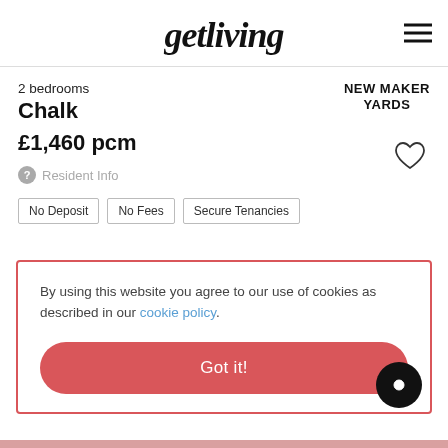getliving
2 bedrooms
Chalk
£1,460 pcm
NEW MAKER YARDS
Resident Info
No Deposit
No Fees
Secure Tenancies
By using this website you agree to our use of cookies as described in our cookie policy.
Got it!